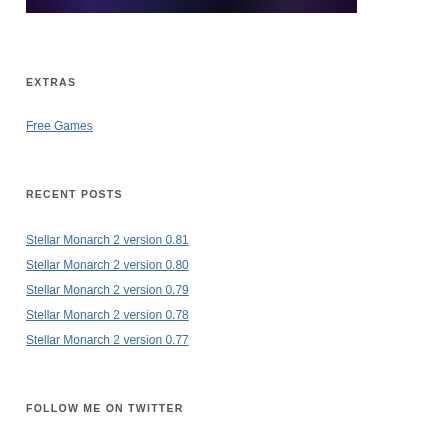[Figure (photo): Dark space/galaxy themed banner image with purple and dark blue tones]
EXTRAS
Free Games
RECENT POSTS
Stellar Monarch 2 version 0.81
Stellar Monarch 2 version 0.80
Stellar Monarch 2 version 0.79
Stellar Monarch 2 version 0.78
Stellar Monarch 2 version 0.77
FOLLOW ME ON TWITTER